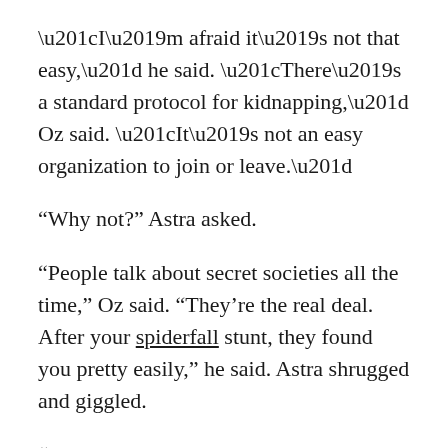“I’m afraid it’s not that easy,” he said. “There’s a standard protocol for kidnapping,” Oz said. “It’s not an easy organization to join or leave.”
“Why not?” Astra asked.
“People talk about secret societies all the time,” Oz said. “They’re the real deal. After your spiderfall stunt, they found you pretty easily,” he said. Astra shrugged and giggled.
“I wasn’t even hiding,” she said. Despite himself, Oz chuckled. He needed whatever levity he could get right now.
“You don’t know the machinations they can